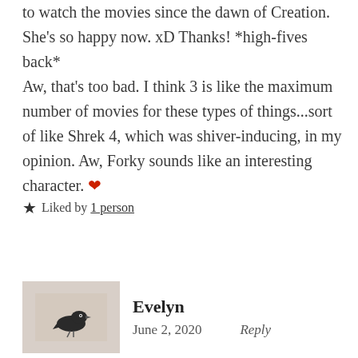to watch the movies since the dawn of Creation. She's so happy now. xD Thanks! *high-fives back* Aw, that's too bad. I think 3 is like the maximum number of movies for these types of things...sort of like Shrek 4, which was shiver-inducing, in my opinion. Aw, Forky sounds like an interesting character. ❤
★ Liked by 1 person
[Figure (photo): Small bird avatar image on beige/tan background]
Evelyn
June 2, 2020    Reply